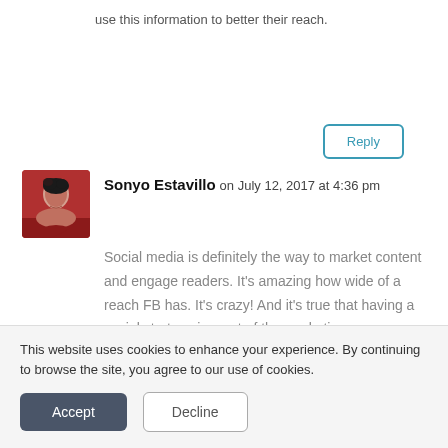use this information to better their reach.
Reply
Sonyo Estavillo on July 12, 2017 at 4:36 pm
[Figure (photo): Avatar photo of Sonyo Estavillo, a woman with dark hair]
Social media is definitely the way to market content and engage readers. It's amazing how wide of a reach FB has. It's crazy! And it's true that having a social strategy is most of the marketing process and less about how much money you spend.
This website uses cookies to enhance your experience. By continuing to browse the site, you agree to our use of cookies.
Accept
Decline